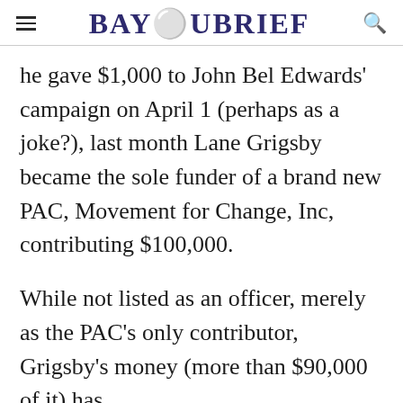BAYOUBRIEF
he gave $1,000 to John Bel Edwards' campaign on April 1 (perhaps as a joke?), last month Lane Grigsby became the sole funder of a brand new PAC, Movement for Change, Inc, contributing $100,000.
While not listed as an officer, merely as the PAC's only contributor, Grigsby's money (more than $90,000 of it) has